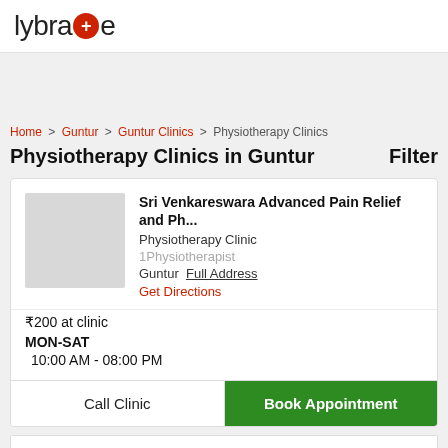[Figure (logo): Lybrate logo with red circle plus sign]
Home > Guntur > Guntur Clinics > Physiotherapy Clinics
Physiotherapy Clinics in Guntur
Filter
Sri Venkareswara Advanced Pain Relief and Ph...
Physiotherapy Clinic
1Physiotherapist
Guntur  Full Address
Get Directions
₹200 at clinic
MON-SAT
10:00 AM - 08:00 PM
Call Clinic
Book Appointment